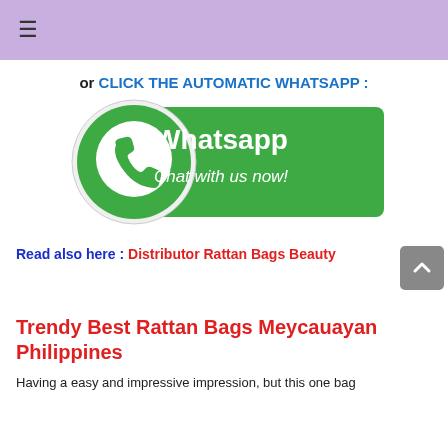≡
or CLICK THE AUTOMATIC WHATSAPP :
[Figure (illustration): WhatsApp banner with green phone icon and text 'Whatsapp Chat with us now!']
Read also here : Distributor Rattan Bags Beauty
Trendy Best Rattan Bags Meycauayan Philippines
Having a easy and impressive impression, but this one bag